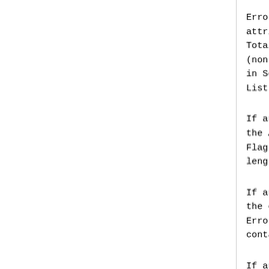Error checking of an UPDATE attributes.  If the Total Total Attribute Length + 2 (non-negative integer) Num in Section 4.3, then the E List.
If any recognized attribu the Attribute Type Code, t Flags Error.  The Data fie length and value).
If any recognized attribu the expected length (based Error Subcode is set to At contains the erroneous att
If any of the mandatory we the Error Subcode is set t